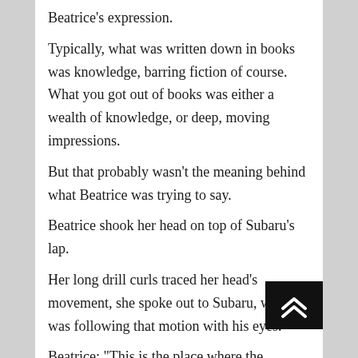Beatrice's expression.
Typically, what was written down in books was knowledge, barring fiction of course. What you got out of books was either a wealth of knowledge, or deep, moving impressions.
But that probably wasn't the meaning behind what Beatrice was trying to say.
Beatrice shook her head on top of Subaru's lap.
Her long drill curls traced her head's movement, she spoke out to Subaru, who was following that motion with his eyes.
Beatrice: "This is the place where the knowledge written down by the “Sage” known as being